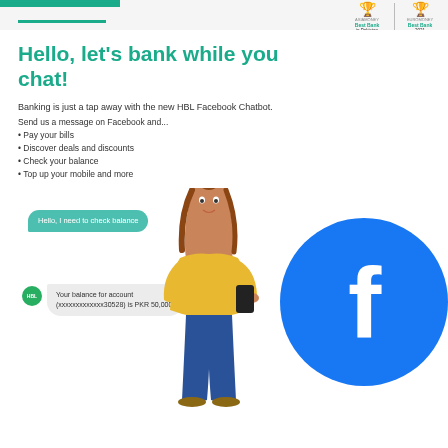[Figure (logo): HBL award badges: Best Bank in Pakistan and Best Bank 2021]
Hello, let's bank while you chat!
Banking is just a tap away with the new HBL Facebook Chatbot.
Send us a message on Facebook and...
• Pay your bills
• Discover deals and discounts
• Check your balance
• Top up your mobile and more
[Figure (illustration): Illustration showing a woman using a smartphone, Facebook chat bubbles showing a balance enquiry chatbot interaction, and a large Facebook logo circle]